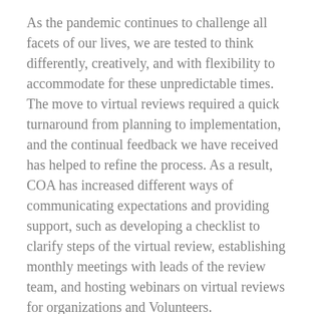As the pandemic continues to challenge all facets of our lives, we are tested to think differently, creatively, and with flexibility to accommodate for these unpredictable times. The move to virtual reviews required a quick turnaround from planning to implementation, and the continual feedback we have received has helped to refine the process. As a result, COA has increased different ways of communicating expectations and providing support, such as developing a checklist to clarify steps of the virtual review, establishing monthly meetings with leads of the review team, and hosting webinars on virtual reviews for organizations and Volunteers.
The collaboration between Volunteers and organizations has been instrumental in the successful implementation of the virtual review. We